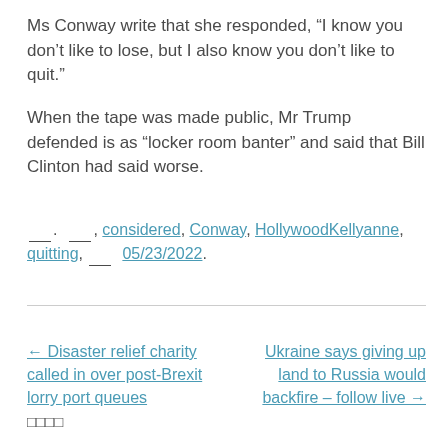Ms Conway write that she responded, “I know you don’t like to lose, but I also know you don’t like to quit.”
When the tape was made public, Mr Trump defended is as “locker room banter” and said that Bill Clinton had said worse.
___ ___, considered, Conway, HollywoodKellyanne, quitting, ___ 05/23/2022.
← Disaster relief charity called in over post-Brexit lorry port queues
Ukraine says giving up land to Russia would backfire – follow live →
□□□□